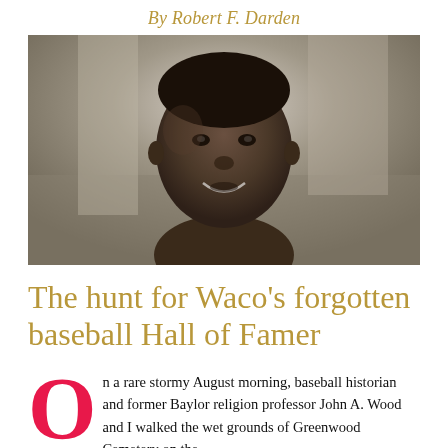By Robert F. Darden
[Figure (photo): Black and white photograph of a young smiling African American man, head and shoulders, looking at camera]
The hunt for Waco's forgotten baseball Hall of Famer
On a rare stormy August morning, baseball historian and former Baylor religion professor John A. Wood and I walked the wet grounds of Greenwood Cemetery on the